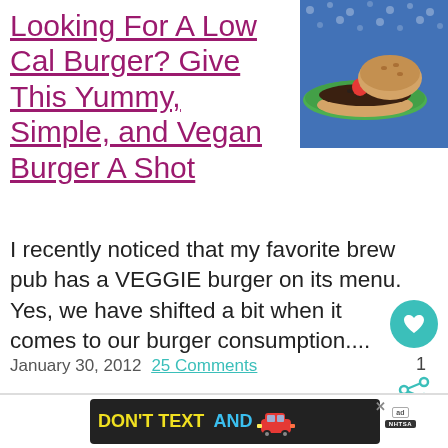Looking For A Low Cal Burger? Give This Yummy, Simple, and Vegan Burger A Shot
[Figure (photo): Photo of a veggie burger with ketchup on a green plate]
I recently noticed that my favorite brew pub has a VEGGIE burger on its menu. Yes, we have shifted a bit when it comes to our burger consumption....
January 30, 2012  25 Comments
[Figure (other): DON'T TEXT AND DRIVE ad banner with red car, ad label, and NHTSA logo]